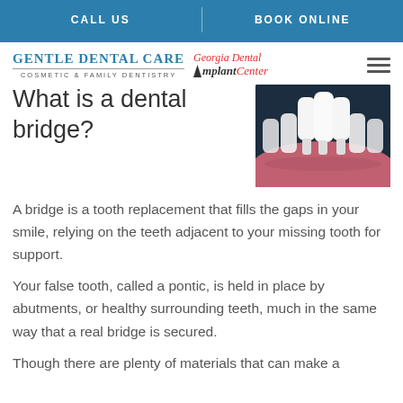CALL US | BOOK ONLINE
[Figure (logo): Gentle Dental Care - Cosmetic & Family Dentistry logo with Georgia Dental Implant Center logo]
What is a dental bridge?
[Figure (photo): 3D illustration of dental bridge showing white tooth crowns on pink gum tissue against dark background]
A bridge is a tooth replacement that fills the gaps in your smile, relying on the teeth adjacent to your missing tooth for support.
Your false tooth, called a pontic, is held in place by abutments, or healthy surrounding teeth, much in the same way that a real bridge is secured.
Though there are plenty of materials that can make a